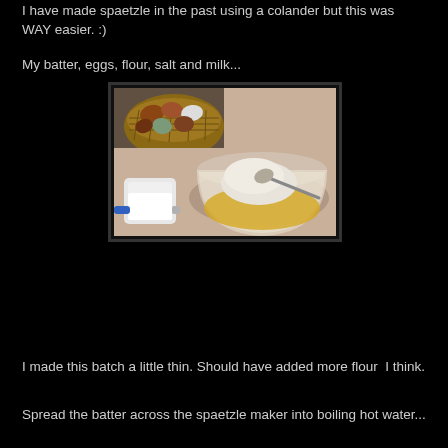I have made spaetzle in the past using a colander but this was WAY easier. :)
My batter, eggs, flour, salt and milk...
[Figure (photo): Top-down view of spaetzle batter ingredients: a bowl with beaten eggs and flour being mixed with a spoon, a measuring cup of milk with a blue handle, and a wicker basket of assorted eggs (brown, white, and green/blue) in the background, on a light countertop.]
I made this batch a little thin. Should have added more flour  I think.
Spread the batter across the spaetzle maker into boiling hot water...